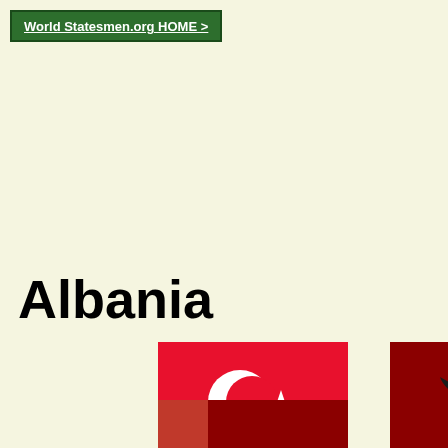World Statesmen.org HOME >
Albania
[Figure (illustration): Turkish flag (red background with white crescent and star) with caption 'to 29 Jul 1913']
to 29 Jul 1913
[Figure (illustration): Albanian autonomy flag (dark red background with black double-headed eagle and white star) with caption 'Jun - 28 Nov 1912 Autonomo...']
Jun - 28 Nov 1912 Autonomo...
[Figure (illustration): Partial red/dark flag visible at bottom left]
[Figure (illustration): Partial Albanian eagle flag visible at bottom right]